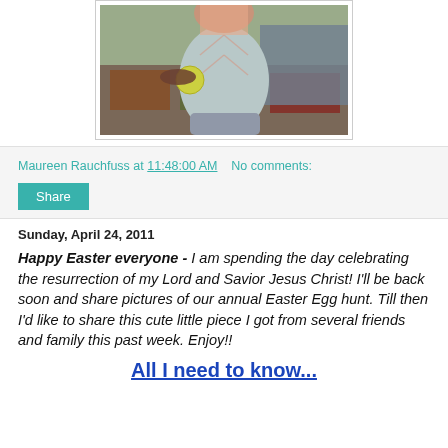[Figure (photo): A child wearing a light gray argyle sweater vest holding a yellow ball, sitting on a colorful rug/blanket, partial view cropped at top]
Maureen Rauchfuss at 11:48:00 AM    No comments:
Share
Sunday, April 24, 2011
Happy Easter everyone - I am spending the day celebrating the resurrection of my Lord and Savior Jesus Christ! I'll be back soon and share pictures of our annual Easter Egg hunt. Till then I'd like to share this cute little piece I got from several friends and family this past week. Enjoy!!
All I need to know...